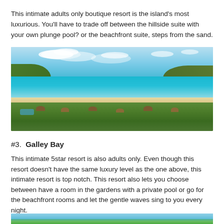This intimate adults only boutique resort is the island's most luxurious. You'll have to trade off between the hillside suite with your own plunge pool? or the beachfront suite, steps from the sand.
[Figure (photo): Aerial view of a tropical beachfront resort with thatched-roof bungalows surrounded by lush greenery, a turquoise bay, and green hills in the background under a blue sky with clouds.]
#3.  Galley Bay
This intimate 5star resort is also adults only. Even though this resort doesn't have the same luxury level as the one above, this intimate resort is top notch. This resort also lets you choose between have a room in the gardens with a private pool or go for the beachfront rooms and let the gentle waves sing to you every night.
[Figure (photo): Partial view of another tropical resort photo at the bottom of the page.]